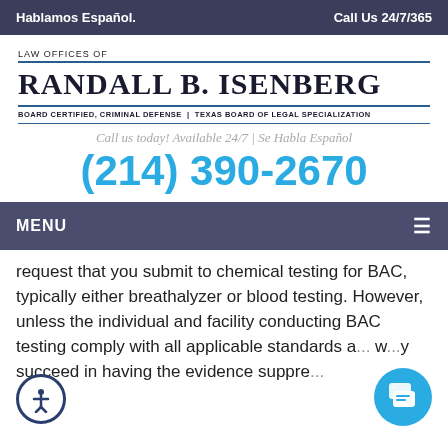Hablamos Español.    Call Us 24/7/365
LAW OFFICES OF
RANDALL B. ISENBERG
BOARD CERTIFIED, CRIMINAL DEFENSE | TEXAS BOARD OF LEGAL SPECIALIZATION
Call us today! Available 24/7 | Se Habla Español
(214) 390-2670
MENU
request that you submit to chemical testing for BAC, typically either breathalyzer or blood testing. However, unless the individual and facility conducting BAC testing comply with all applicable standards a... w...y succeed in having the evidence suppre...